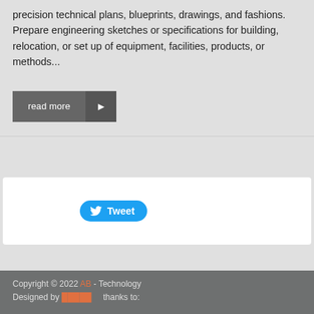precision technical plans, blueprints, drawings, and fashions. Prepare engineering sketches or specifications for building, relocation, or set up of equipment, facilities, products, or methods...
[Figure (other): A 'read more' button with dark grey background and arrow icon on the right side]
[Figure (other): A Twitter 'Tweet' button with blue rounded background and Twitter bird icon]
Copyright © 2022 [link] - Technology
Designed by [link] thanks to: